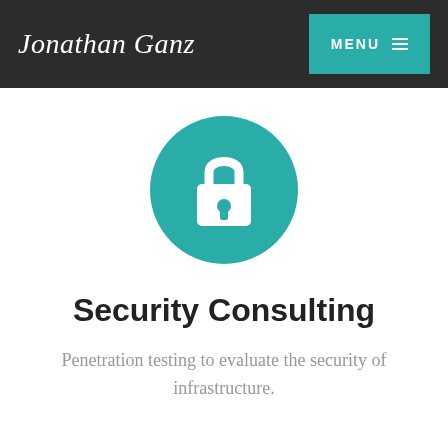Jonathan Ganz | MENU
[Figure (illustration): Teal circle with white padlock icon in the center]
Security Consulting
Penetration testing to evaluate the security of infrastructure.